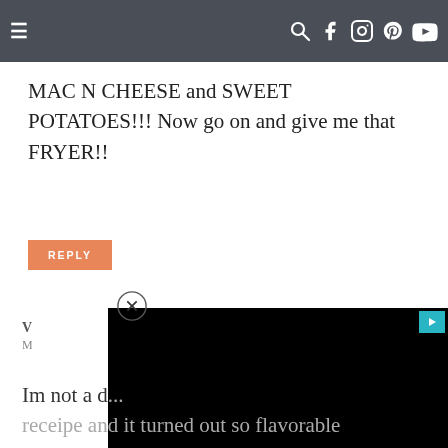≡  🔍 f 📷 𝐩 ▶
MAC N CHEESE and SWEET POTATOES!!! Now go on and give me that FRYER!!
REPLY
[Figure (screenshot): A close button (circle with X) above a black video player overlay with a teal play icon in the top right corner]
V
M
Im not a d... receipe and it turned out so flavorable and juicy. My boyfriend is not a turkey